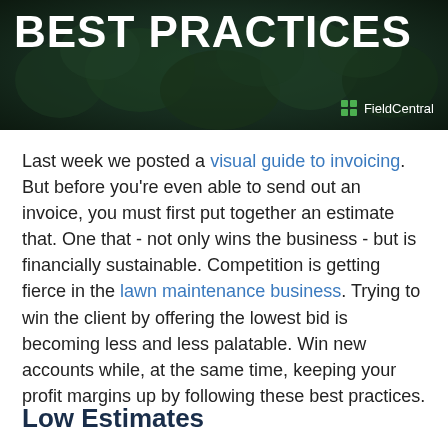[Figure (photo): Dark green aerial forest background banner with white bold text 'BEST PRACTICES' and FieldCentral logo in the bottom right corner.]
Last week we posted a visual guide to invoicing. But before you're even able to send out an invoice, you must first put together an estimate that. One that - not only wins the business - but is financially sustainable. Competition is getting fierce in the lawn maintenance business. Trying to win the client by offering the lowest bid is becoming less and less palatable. Win new accounts while, at the same time, keeping your profit margins up by following these best practices.
Low Estimates